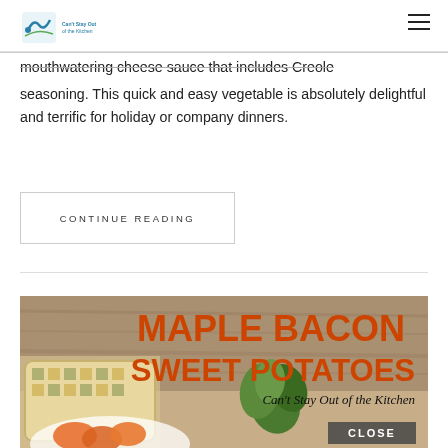Can't Stay Out of the Kitchen
mouthwatering cheese sauce that includes Creole seasoning. This quick and easy vegetable is absolutely delightful and terrific for holiday or company dinners.
CONTINUE READING
[Figure (photo): Maple Bacon Sweet Potatoes food blog post image with orange bold text title 'MAPLE BACON SWEET POTATOES', subtitle 'Can't Stay Out of the Kitchen', a dish with sweet potatoes and green herbs, with a CLOSE button overlay]